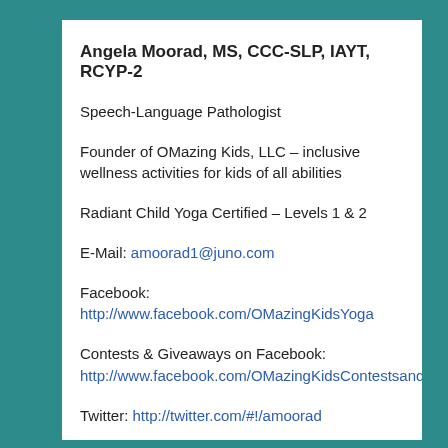Angela Moorad, MS, CCC-SLP, IAYT, RCYP-2
Speech-Language Pathologist
Founder of OMazing Kids, LLC – inclusive wellness activities for kids of all abilities
Radiant Child Yoga Certified – Levels 1 & 2
E-Mail: amoorad1@juno.com
Facebook: http://www.facebook.com/OMazingKidsYoga
Contests & Giveaways on Facebook: http://www.facebook.com/OMazingKidsContestsandGiveaways
Twitter: http://twitter.com/#!/amoorad